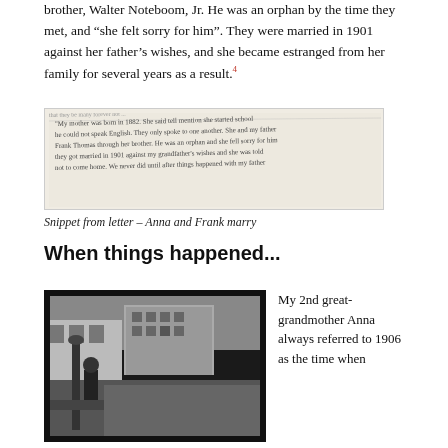brother, Walter Noteboom, Jr.  He was an orphan by the time they met, and "she felt sorry for him".  They were married in 1901 against her father's wishes, and she became estranged from her family for several years as a result.⁴
[Figure (photo): Handwritten letter snippet showing cursive text about Anna's mother and Frank meeting and marrying in 1901]
Snippet from letter – Anna and Frank marry
When things happened...
[Figure (photo): Black and white historical photograph of a street scene with buildings and what appears to be a gas pump or post in the foreground]
My 2nd great-grandmother Anna always referred to 1906 as the time when